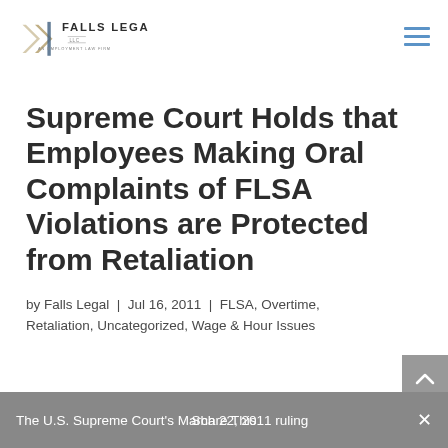Falls Legal LLC — An Employment Law Firm
Supreme Court Holds that Employees Making Oral Complaints of FLSA Violations are Protected from Retaliation
by Falls Legal | Jul 16, 2011 | FLSA, Overtime, Retaliation, Uncategorized, Wage & Hour Issues
The U.S. Supreme Court's March 22, 2011 ruling